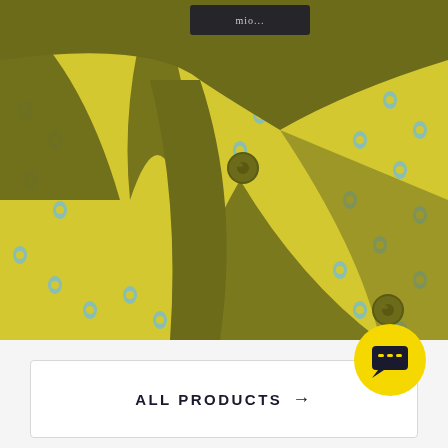[Figure (photo): Close-up photo of a yellow floral printed kurta/shirt with olive/dark yellow collar band and button placket. The fabric has a repeated blue and yellow flower motif. Two olive-colored covered buttons are visible on the placket. A brand label is partially visible at the top.]
ALL PRODUCTS →